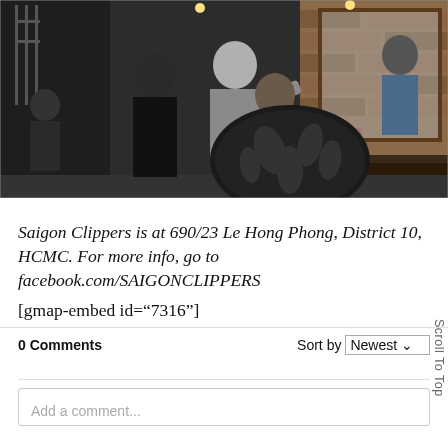[Figure (photo): Interior of Saigon Clippers barbershop. A barber in a grey t-shirt is cutting a customer's hair. The customer wears a black patterned cape. Another barber in black stands nearby. The shop has brick walls, mirrors, and grooming products on shelves.]
Saigon Clippers is at 690/23 Le Hong Phong, District 10, HCMC. For more info, go to facebook.com/SAIGONCLIPPERS
[gmap-embed id="7316"]
0 Comments
Sort by Newest
Scroll To Top
Add a comment...